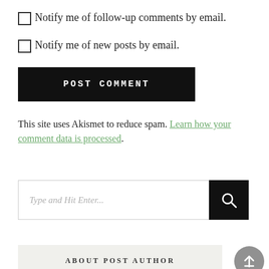Notify me of follow-up comments by email.
Notify me of new posts by email.
POST COMMENT
This site uses Akismet to reduce spam. Learn how your comment data is processed.
Type and Hit Enter...
ABOUT POST AUTHOR